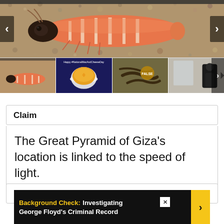[Figure (photo): Carousel of images: main large photo of an orange/pink isopod (pill bug-like creature) on sandy/gravelly surface. Below: four thumbnails - a sushi-like image with same creature, a mac and cheese bowl on navy background with text 'Happy #NationalMacAndCheeseDay', a falsely labeled image of what appears to be mealworms with 'FALSE' badge, and a smart speaker/device image. Left and right navigation arrows visible.]
Claim
The Great Pyramid of Giza’s location is linked to the speed of light.
Rating
[Figure (screenshot): Advertisement banner with black background. Yellow text reads 'Background Check:' followed by white text 'Investigating George Floyd’s Criminal Record'. Yellow arrow button on right. Close X button top right.]